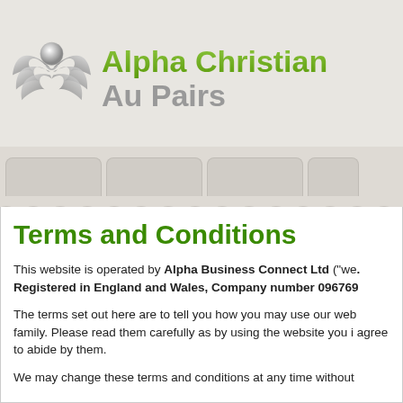[Figure (logo): Alpha Christian Au Pairs logo with silver angel wings and a sphere figure, with green gradient 'Alpha Christian' text and grey 'Au Pairs' text]
Terms and Conditions
This website is operated by Alpha Business Connect Ltd ("we". Registered in England and Wales, Company number 096769...
The terms set out here are to tell you how you may use our web... family. Please read them carefully as by using the website you i... agree to abide by them.
We may change these terms and conditions at any time without...